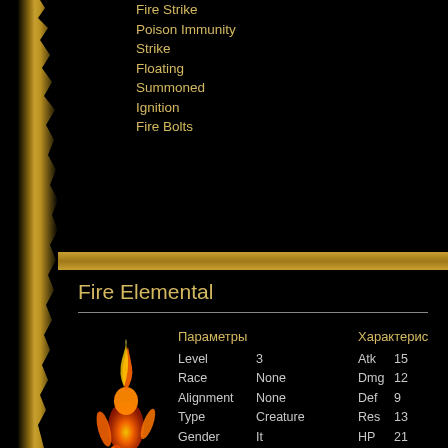Fire Strike
Poison Immunity
Strike
Floating
Summoned
Ignition
Fire Bolts
Fire Elemental
[Figure (illustration): Fire Elemental creature sprite — a humanoid figure made of orange and red flame, walking pose]
| Параметры |  | Характерис |
| --- | --- | --- |
| Level | 3 | Atk 15 |
| Race | None | Dmg 12 |
| Alignment | None | Def  9 |
| Type | Creature | Res 13 |
| Gender | It | HP  21 |
| Size | L | MP  36 |
| Price | 140 |  |
Способности
Серебро
Walking
+Fury
Fire Immunity
Strike
Poison Immunity
Fire Strike
Cold Weakness
Magic Strike
Summoned